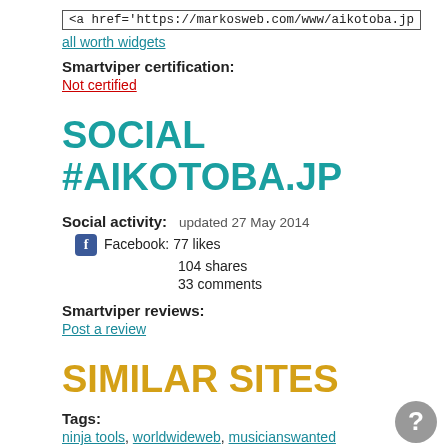<a href='https://markosweb.com/www/aikotoba.jp
all worth widgets
Smartviper certification:
Not certified
SOCIAL #AIKOTOBA.JP
Social activity:    updated 27 May 2014
Facebook: 77 likes
104 shares
33 comments
Smartviper reviews:
Post a review
SIMILAR SITES
Tags:
ninja tools, worldwideweb, musicianswanted
Related domains:   bases on topics
nobody.jp, gozaru.jp, client.jp, ojaru.jp, nomaki.jp, bufsiz.jp, michikusa.jp, ame-zaiku.com, iinaa.net, ninja-web.net.